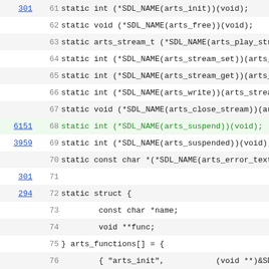Code listing showing C source lines 61–83 with line references and syntax highlighting